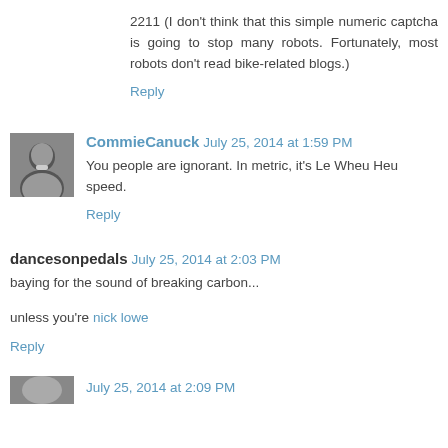2211 (I don't think that this simple numeric captcha is going to stop many robots. Fortunately, most robots don't read bike-related blogs.)
Reply
CommieCanuck July 25, 2014 at 1:59 PM
You people are ignorant. In metric, it's Le Wheu Heu speed.
Reply
dancesonpedals July 25, 2014 at 2:03 PM
baying for the sound of breaking carbon...
unless you're nick lowe
Reply
July 25, 2014 at 2:09 PM